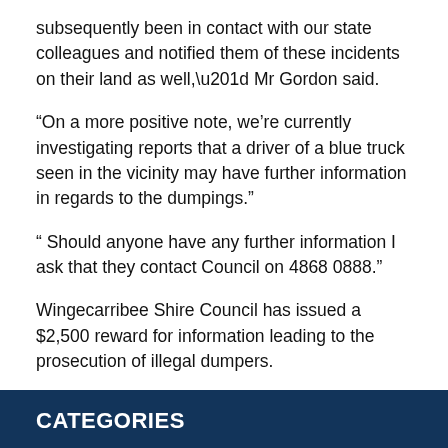subsequently been in contact with our state colleagues and notified them of these incidents on their land as well,” Mr Gordon said.
“On a more positive note, we’re currently investigating reports that a driver of a blue truck seen in the vicinity may have further information in regards to the dumpings.”
“ Should anyone have any further information I ask that they contact Council on 4868 0888.”
Wingecarribee Shire Council has issued a $2,500 reward for information leading to the prosecution of illegal dumpers.
Penalties for illegal dumping include on-the-spot fines of up to $5000, five million dollars for corporations and one million dollars plus seven years imprisonment for individuals.
CATEGORIES